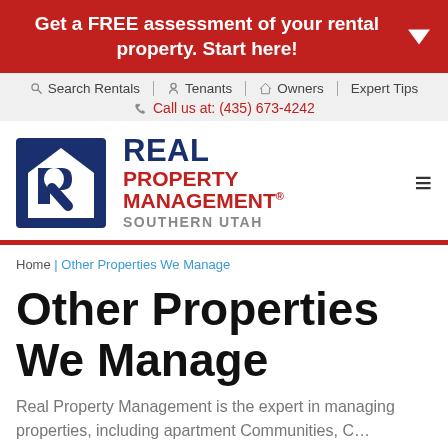Get a FREE assessment of your rental property. Start here!
Search Rentals | Tenants | Owners | Expert Tips | Call us at: (435) 673-4242
[Figure (logo): Real Property Management Southern Utah logo with blue R icon]
Home | Other Properties We Manage
Other Properties We Manage
Real Property Management is the expert in managing properties, including apartment Communities, C...